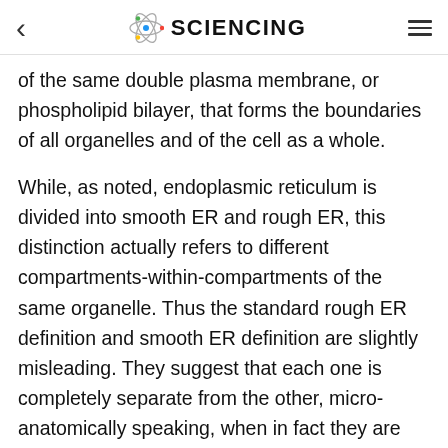< SCIENCING =
of the same double plasma membrane, or phospholipid bilayer, that forms the boundaries of all organelles and of the cell as a whole.
While, as noted, endoplasmic reticulum is divided into smooth ER and rough ER, this distinction actually refers to different compartments-within-compartments of the same organelle. Thus the standard rough ER definition and smooth ER definition are slightly misleading. They suggest that each one is completely separate from the other, micro-anatomically speaking, when in fact they are part of the same larger membranous network.